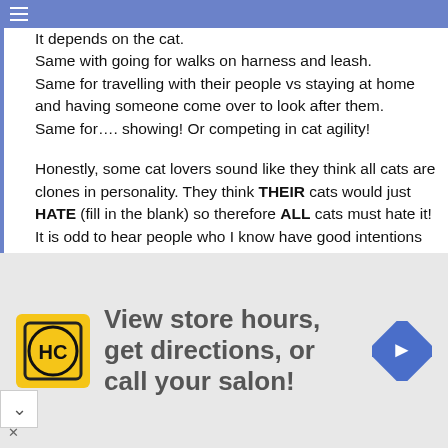It depends on the cat.
Same with going for walks on harness and leash.
Same for travelling with their people vs staying at home and having someone come over to look after them.
Same for…. showing! Or competing in cat agility!
Honestly, some cat lovers sound like they think all cats are clones in personality. They think THEIR cats would just HATE (fill in the blank) so therefore ALL cats must hate it!
It is odd to hear people who I know have good intentions and love cats, repeating the same stereotypes believed by many people who dislike cats, characterizing them all as anti-social and reclusive.
Michael, I can't say whether Charlie would like going for rides in a stroller. But I'm sure he won't be worrying "Is this
[Figure (infographic): Advertisement banner: HC logo (yellow square with black HC text), text 'View store hours, get directions, or call your salon!' in gray, blue diamond navigation icon on right. Skip/close controls at bottom left.]